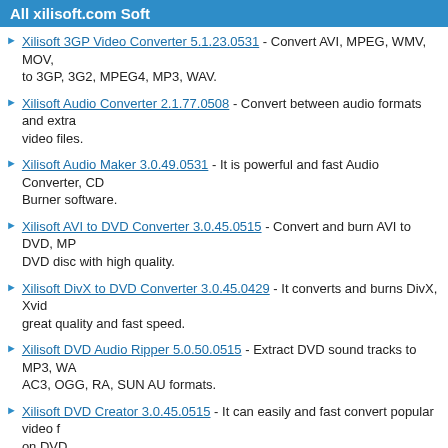All xilisoft.com Soft
Xilisoft 3GP Video Converter 5.1.23.0531 - Convert AVI, MPEG, WMV, MOV, to 3GP, 3G2, MPEG4, MP3, WAV.
Xilisoft Audio Converter 2.1.77.0508 - Convert between audio formats and extra video files.
Xilisoft Audio Maker 3.0.49.0531 - It is powerful and fast Audio Converter, CD Burner software.
Xilisoft AVI to DVD Converter 3.0.45.0515 - Convert and burn AVI to DVD, MP DVD disc with high quality.
Xilisoft DivX to DVD Converter 3.0.45.0429 - It converts and burns DivX, Xvid great quality and fast speed.
Xilisoft DVD Audio Ripper 5.0.50.0515 - Extract DVD sound tracks to MP3, WA AC3, OGG, RA, SUN AU formats.
Xilisoft DVD Creator 3.0.45.0515 - It can easily and fast convert popular video f on DVD.
Xilisoft DVD Ripper for Mac 5.0.34.0203 - Excellent DVD ripper for Mac to rip video and audio formats.
Xilisoft DVD to AppleTV Converter Mac 4.0.47.0911 - It can rip DVD to Apple DVDs on video iPod for Mac users.
Xilisoft DVD to MP4 Converter 5.0.50.0522 - It can convert DVD to MP4 and D to audio MP3, AAC, M4A.
Xilisoft HD Video Converter 5.1.23.0508 - It supports converting between video audio and video to audio
Xilisoft iPod Mate 2.1.33.0531 - A discount pack including three professional iPo